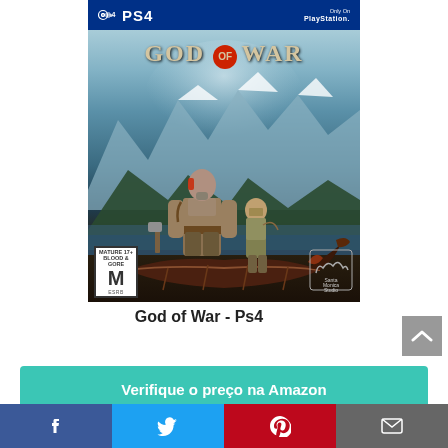[Figure (photo): God of War PS4 game cover showing two characters, Kratos and Atreus, standing on a Viking boat with Norse landscape in background. PS4 logo at top. ESRB M rating and Santa Monica Studio logo visible.]
God of War - Ps4
Verifique o preço na Amazon
Amazon.com.br